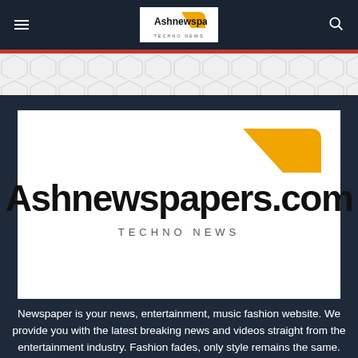Ashnewspapers.com — TECHNO NEWS
[Figure (logo): Ashnewspapers.com logo with yellow pennant shape and TECHNO NEWS tagline on white background]
Newspaper is your news, entertainment, music fashion website. We provide you with the latest breaking news and videos straight from the entertainment industry. Fashion fades, only style remains the same. Fashion never stops. There are always